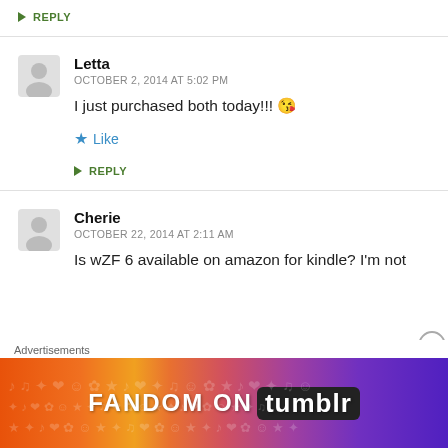↳ REPLY
Letta
OCTOBER 2, 2014 AT 5:02 PM
I just purchased both today!!! 😘
★ Like
↳ REPLY
Cherie
OCTOBER 22, 2014 AT 2:11 AM
Is wZF 6 available on amazon for kindle? I'm not
Advertisements
[Figure (infographic): FANDOM ON tumblr advertisement banner with colorful gradient background (orange to purple) and decorative doodle patterns]